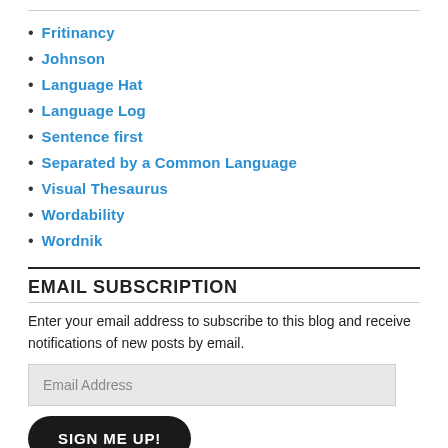Fritinancy
Johnson
Language Hat
Language Log
Sentence first
Separated by a Common Language
Visual Thesaurus
Wordability
Wordnik
EMAIL SUBSCRIPTION
Enter your email address to subscribe to this blog and receive notifications of new posts by email.
Email Address
SIGN ME UP!